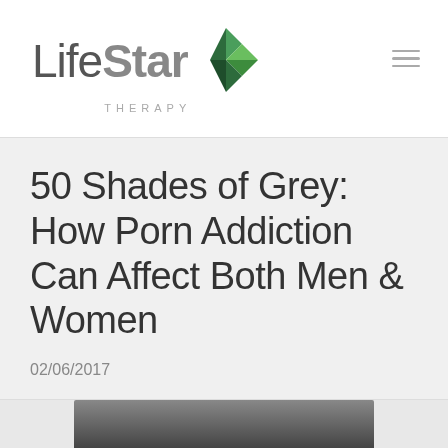LifeStar THERAPY
50 Shades of Grey: How Porn Addiction Can Affect Both Men & Women
02/06/2017
[Figure (photo): Bottom edge of a photograph partially visible at the bottom of the page]